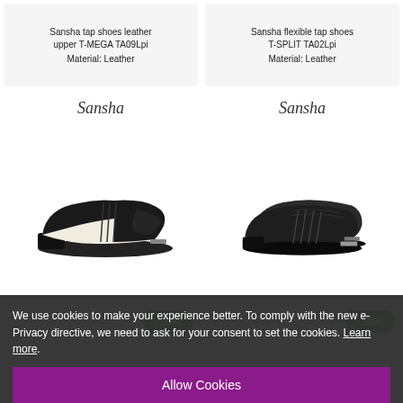Sansha tap shoes leather upper T-MEGA TA09Lpi
Material: Leather
Sansha flexible tap shoes T-SPLIT TA02Lpi
Material: Leather
[Figure (illustration): Sansha brand logo in italic script]
[Figure (illustration): Sansha brand logo in italic script]
[Figure (photo): Black and white leather tap shoe (T-MEGA) side view]
[Figure (photo): Black leather lace-up tap shoes (T-SPLIT) side view]
-30%
-10%
We use cookies to make your experience better. To comply with the new e-Privacy directive, we need to ask for your consent to set the cookies. Learn more.
Allow Cookies